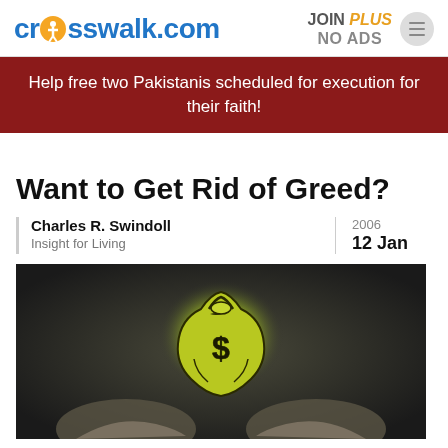crosswalk.com | JOIN PLUS NO ADS
Help free two Pakistanis scheduled for execution for their faith!
Want to Get Rid of Greed?
Charles R. Swindoll
Insight for Living
2006
12 Jan
[Figure (photo): Person holding a glowing yellow money bag with a dollar sign drawn on it, hands outstretched against a dark background]